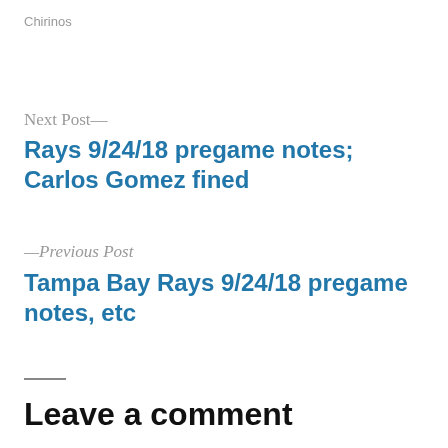Chirinos
Next Post—
Rays 9/24/18 pregame notes; Carlos Gomez fined
—Previous Post
Tampa Bay Rays 9/24/18 pregame notes, etc
Leave a comment